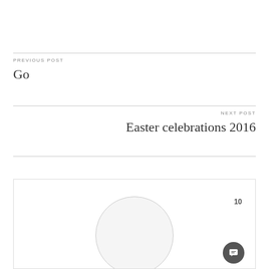PREVIOUS POST
Go
NEXT POST
Easter celebrations 2016
[Figure (illustration): Profile card with a large circle avatar placeholder and a number badge showing 10, plus a dark circular chat button with a message icon in the bottom right corner.]